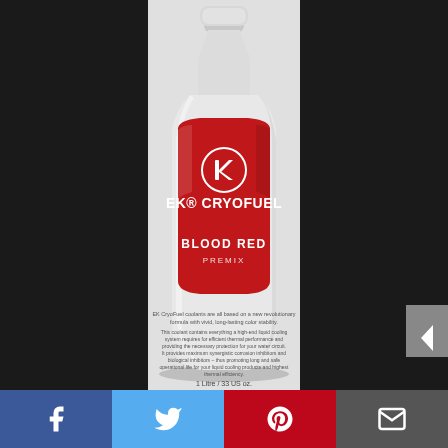[Figure (photo): EK CryoFuel Blood Red Premix coolant bottle. A white bottle with a red label featuring the EK logo (a stylized K in a circle), the text 'EK® CRYOFUEL', 'BLOOD RED', 'PREMIX', product description text in small print, and '1 Litre / 33 US oz.' at the bottom. The bottle has a white screw cap.]
[Figure (infographic): Social sharing bar at the bottom with four buttons: Facebook (blue), Twitter (light blue), Pinterest (red), and Email (dark gray), each with the respective icon in white.]